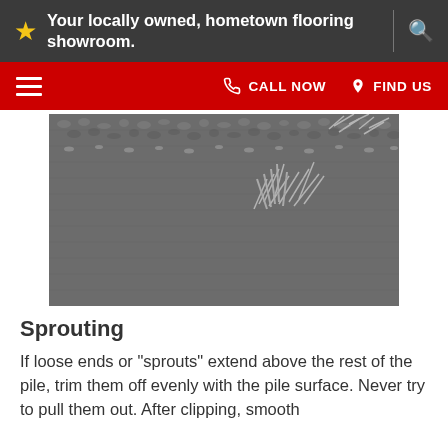Your locally owned, hometown flooring showroom.
[Figure (photo): Close-up photo of carpet fibers showing sprouting/loose ends extending above the pile surface]
Sprouting
If loose ends or "sprouts" extend above the rest of the pile, trim them off evenly with the pile surface. Never try to pull them out. After clipping, smooth them...